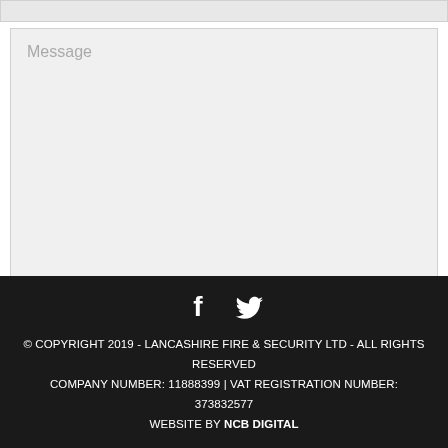[Figure (screenshot): Top partial input bar (grey, cropped)]
[Figure (screenshot): Message textarea with placeholder text 'Message' and resize handle]
12 + 11 =
[Figure (screenshot): CAPTCHA answer input box (grey) and Submit button with red border]
© COPYRIGHT 2019 - LANCASHIRE FIRE & SECURITY LTD - ALL RIGHTS RESERVED COMPANY NUMBER: 11888399 | VAT REGISTRATION NUMBER: 373832577 WEBSITE BY NCB DIGITAL